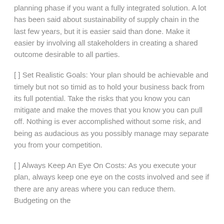planning phase if you want a fully integrated solution. A lot has been said about sustainability of supply chain in the last few years, but it is easier said than done. Make it easier by involving all stakeholders in creating a shared outcome desirable to all parties.
[ ] Set Realistic Goals: Your plan should be achievable and timely but not so timid as to hold your business back from its full potential. Take the risks that you know you can mitigate and make the moves that you know you can pull off. Nothing is ever accomplished without some risk, and being as audacious as you possibly manage may separate you from your competition.
[ ] Always Keep An Eye On Costs: As you execute your plan, always keep one eye on the costs involved and see if there are any areas where you can reduce them. Budgeting on the